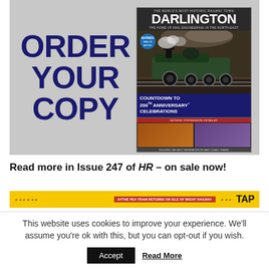[Figure (illustration): Advertisement showing 'ORDER YOUR COPY' text on a grey metallic background alongside a magazine cover for 'Darlington' Issue 247 of HR, featuring a steam locomotive and the text 'Countdown to 200th Anniversary Celebrations']
Read more in Issue 247 of HR – on sale now!
[Figure (illustration): Yellow banner strip with red section and TAP logo, partially visible]
This website uses cookies to improve your experience. We'll assume you're ok with this, but you can opt-out if you wish.
Accept   Read More